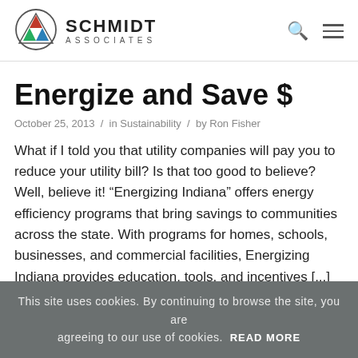[Figure (logo): Schmidt Associates logo: circle with triangle containing red, green and blue triangles, next to text SCHMIDT ASSOCIATES]
Energize and Save $
October 25, 2013 / in Sustainability / by Ron Fisher
What if I told you that utility companies will pay you to reduce your utility bill? Is that too good to believe? Well, believe it! “Energizing Indiana” offers energy efficiency programs that bring savings to communities across the state. With programs for homes, schools, businesses, and commercial facilities, Energizing Indiana provides education, tools, and incentives [...]
This site uses cookies. By continuing to browse the site, you are agreeing to our use of cookies. READ MORE